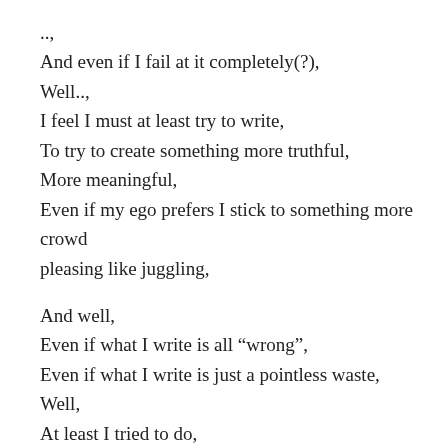..,
And even if I fail at it completely(?),
Well..,
I feel I must at least try to write,
To try to create something more truthful,
More meaningful,
Even if my ego prefers I stick to something more crowd pleasing like juggling,
And well,
Even if what I write is all “wrong”,
Even if what I write is just a pointless waste,
Well,
At least I tried to do,
What I truly viewed,